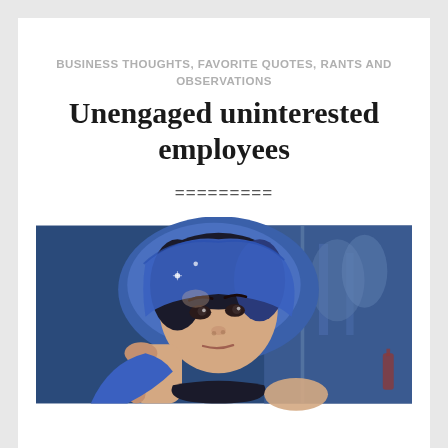BUSINESS THOUGHTS, FAVORITE QUOTES, RANTS AND OBSERVATIONS
Unengaged uninterested employees
=========
[Figure (photo): A woman with dark hair wearing a blue headscarf, resting her head on her hand, looking bored or disengaged, with a blue-toned background showing trees and architectural elements.]